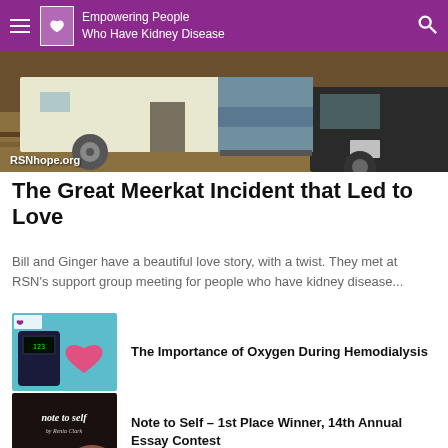Empowering People Who Have Kidney Disease
[Figure (photo): Photo of a travel trailer/RV parked outdoors with RSNhope.org watermark in lower left corner]
The Great Meerkat Incident that Led to Love
Bill and Ginger have a beautiful love story, with a twist. They met at RSN's support group meeting for people who have kidney disease...
[Figure (photo): Thumbnail image showing a glucose meter and a pink heart on a teal background with RSN logo]
The Importance of Oxygen During Hemodialysis
[Figure (photo): Thumbnail image with 'note to self' calligraphy text on dark background with flowers]
Note to Self – 1st Place Winner, 14th Annual Essay Contest